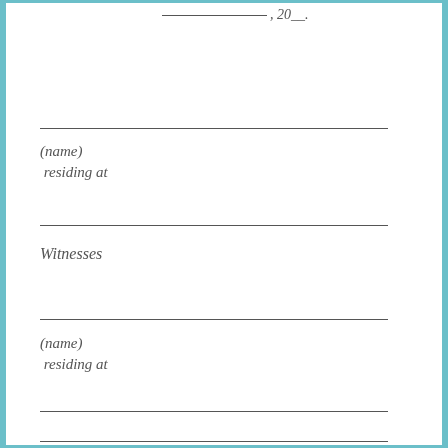_____________, 20__.
(name)
 residing at
Witnesses
(name)
 residing at